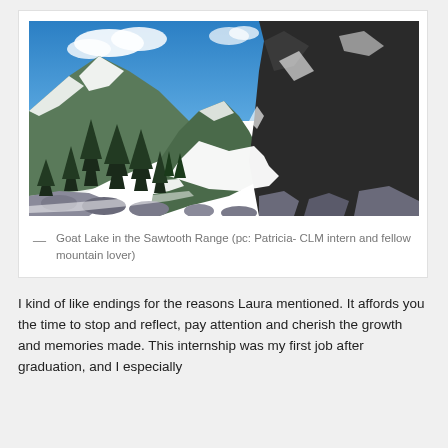[Figure (photo): Mountain landscape photo showing Goat Lake in the Sawtooth Range. Blue sky with white clouds above snow-covered mountains and rocky peaks. Dark evergreen pine trees in foreground left, large dark rocky mountain on right, snowy valley floor in middle ground.]
— Goat Lake in the Sawtooth Range (pc: Patricia- CLM intern and fellow mountain lover)
I kind of like endings for the reasons Laura mentioned. It affords you the time to stop and reflect, pay attention and cherish the growth and memories made. This internship was my first job after graduation, and I especially